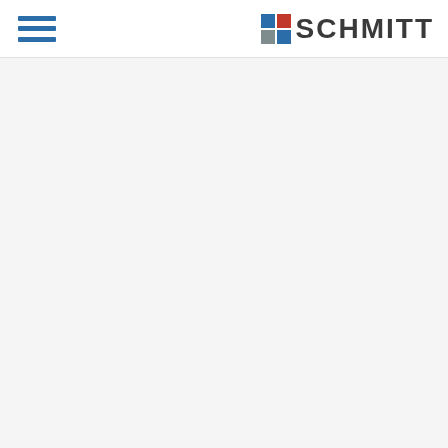SCHMITT
[Figure (logo): Schmitt company logo with a 2x2 color grid icon (red, blue, grey, blue) next to the bold dark text SCHMITT, and a hamburger menu icon with three blue horizontal lines on the left side of the header.]